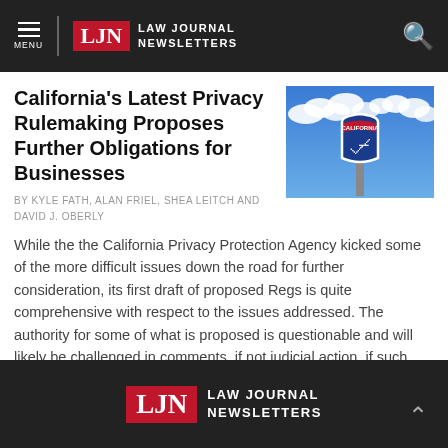MENU | LJN LAW JOURNAL NEWSLETTERS
California's Latest Privacy Rulemaking Proposes Further Obligations for Businesses
BY KYLE FATH, ALAN FRIEL, SHEA LEITCH AND DAVID J. OBERLY
[Figure (photo): California interstate highway road sign against a blue sky with clouds]
While the the California Privacy Protection Agency kicked some of the more difficult issues down the road for further consideration, its first draft of proposed Regs is quite comprehensive with respect to the issues addressed. The authority for some of what is proposed is questionable and will likely be challenged in comments, if not judicial action, if such provisions become final.
LJN LAW JOURNAL NEWSLETTERS